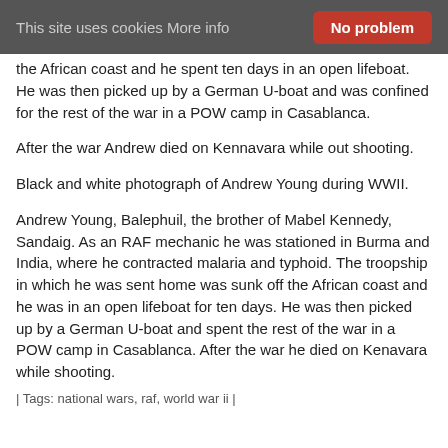This site uses cookies More info   No problem
the African coast and he spent ten days in an open lifeboat. He was then picked up by a German U-boat and was confined for the rest of the war in a POW camp in Casablanca.
After the war Andrew died on Kennavara while out shooting.
Black and white photograph of Andrew Young during WWII.
Andrew Young, Balephuil, the brother of Mabel Kennedy, Sandaig. As an RAF mechanic he was stationed in Burma and India, where he contracted malaria and typhoid. The troopship in which he was sent home was sunk off the African coast and he was in an open lifeboat for ten days. He was then picked up by a German U-boat and spent the rest of the war in a POW camp in Casablanca. After the war he died on Kenavara while shooting.
| Tags: national wars, raf, world war ii |